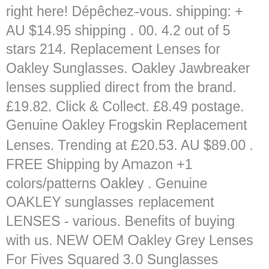right here! Dépêchez-vous. shipping: + AU $14.95 shipping . 00. 4.2 out of 5 stars 214. Replacement Lenses for Oakley Sunglasses. Oakley Jawbreaker lenses supplied direct from the brand. £19.82. Click & Collect. £8.49 postage. Genuine Oakley Frogskin Replacement Lenses. Trending at £20.53. AU $89.00 . FREE Shipping by Amazon +1 colors/patterns Oakley . Genuine OAKLEY sunglasses replacement LENSES - various. Benefits of buying with us. NEW OEM Oakley Grey Lenses For Fives Squared 3.0 Sunglasses Factory Original 29. NEW Genuine OAKLEY CHAINLINK Polished Clear Violet Iridium Sunglasses OO 9247-06. 9 Colors. Tintart Performance Lenses Compatible with Oakley Crosshair New 2012 Polarized Etched. AU $24.95. Genuine Replacement Lenses for the Tifosi Bronx sunglassesThe images used do not display the true shape of Tifosi Bronx lenses. Made in Japan by LINEGEAR, we provide replacement lenses, rubber part, screws and other necessary parts to revive your Oakley X-Metal. 3 bids. Our products cover the Oakley X-Metal series